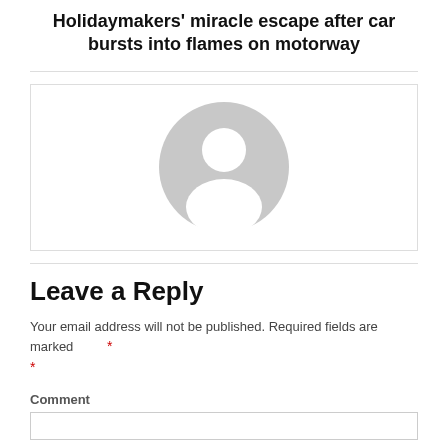Holidaymakers' miracle escape after car bursts into flames on motorway
[Figure (illustration): Default user avatar placeholder icon — a grey silhouette of a person (head and shoulders) inside a grey circle, on a white boxed background]
Leave a Reply
Your email address will not be published. Required fields are marked *
Comment